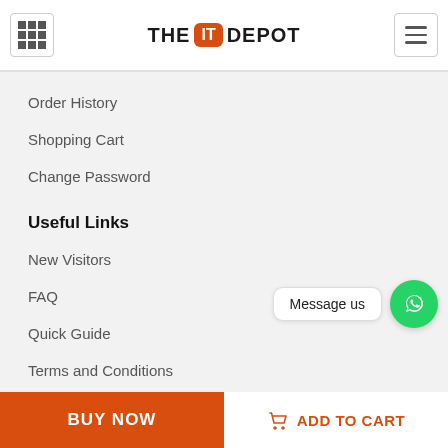THE IT DEPOT
Order History
Shopping Cart
Change Password
Useful Links
New Visitors
FAQ
Quick Guide
Terms and Conditions
Privacy Policy
Shipping Policy
[Figure (other): WhatsApp Message us widget with green circle chat icon]
BUY NOW   ADD TO CART